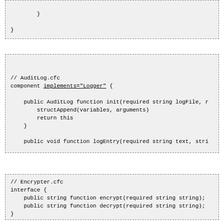[Figure (screenshot): Code block snippet showing closing braces of a component, partial view]
[Figure (screenshot): Code block for AuditLog.cfc component implementing Logger interface with init and logEntry functions]
[Figure (screenshot): Code block for Encrypter.cfc interface with encrypt and decrypt function signatures]